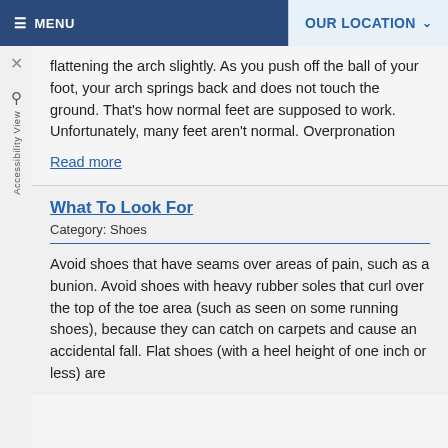≡ MENU   OUR LOCATION ∨
flattening the arch slightly. As you push off the ball of your foot, your arch springs back and does not touch the ground. That's how normal feet are supposed to work. Unfortunately, many feet aren't normal. Overpronation
Read more
What To Look For
Category: Shoes
Avoid shoes that have seams over areas of pain, such as a bunion. Avoid shoes with heavy rubber soles that curl over the top of the toe area (such as seen on some running shoes), because they can catch on carpets and cause an accidental fall. Flat shoes (with a heel height of one inch or less) are